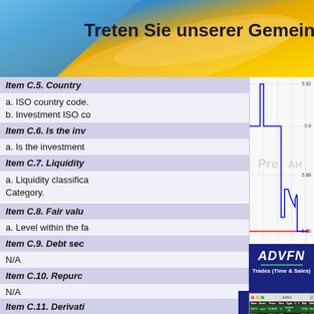[Figure (screenshot): Banner with blue and gold gradient background and text 'Treten Sie unserer Gemeinschaft']
Item C.5. Country
a. ISO country code.
b. Investment ISO co
Item C.6. Is the inv
a. Is the investment
Item C.7. Liquidity
a. Liquidity classifica
Category.
Item C.8. Fair valu
a. Level within the fa
Item C.9. Debt sec
N/A
Item C.10. Repurc
N/A
Item C.11. Derivati
[Figure (continuous-plot): Stock price chart showing intraday price movement between approximately 5.86 and 5.92, with blue line (price) and red line (reference). X-axis shows times 1500, 1800, 2100, 0000. Labels Pre and AH visible. Copyright (c) www.advfn.com]
[Figure (screenshot): ADVFN Trades (Time & Sales) panel showing logo, subtitle, and a trades table with columns Num, Exch., Price, Size, Type, C, T, Bid, Offer, Tim. Rows show trades at nyse for prices around 70.06-70.07.]